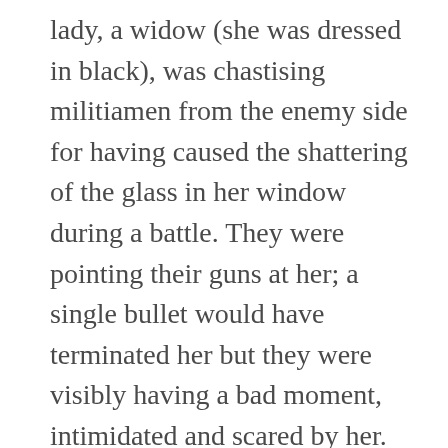lady, a widow (she was dressed in black), was chastising militiamen from the enemy side for having caused the shattering of the glass in her window during a battle. They were pointing their guns at her; a single bullet would have terminated her but they were visibly having a bad moment, intimidated and scared by her. She was the opposite of the boxer: physically fragile, but not fragile in character.
Also, it is a well-known trick that if you need something urgently done, give the task to the busiest (or second busiest) person in the office. Most humans manage to squander their free time, as free time